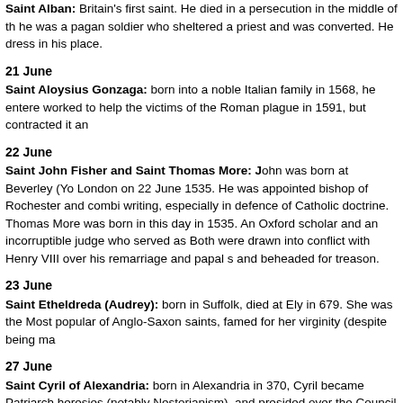Saint Alban: Britain's first saint. He died in a persecution in the middle of the third century; he was a pagan soldier who sheltered a priest and was converted. He dressed in the priest's clothes in his place.
21 June
Saint Aloysius Gonzaga: born into a noble Italian family in 1568, he entered the Jesuits and worked to help the victims of the Roman plague in 1591, but contracted it an
22 June
Saint John Fisher and Saint Thomas More: John was born at Beverley (Yo London on 22 June 1535. He was appointed bishop of Rochester and combined writing, especially in defence of Catholic doctrine. Thomas More was born in this day in 1535. An Oxford scholar and an incorruptible judge who served as Both were drawn into conflict with Henry VIII over his remarriage and papal s and beheaded for treason.
23 June
Saint Etheldreda (Audrey): born in Suffolk, died at Ely in 679. She was the Most popular of Anglo-Saxon saints, famed for her virginity (despite being ma
27 June
Saint Cyril of Alexandria: born in Alexandria in 370, Cyril became Patriarch heresies (notably Nestorianism), and presided over the Council of Ephesus i remembered in the West for defending Our Lady's divine motherhood, expre died in 444.
27 June
Saint John Southworth: Salmesbury, in the north of the Diocese, was the s John was born there in 1582. He trained in Douai, and returned to England